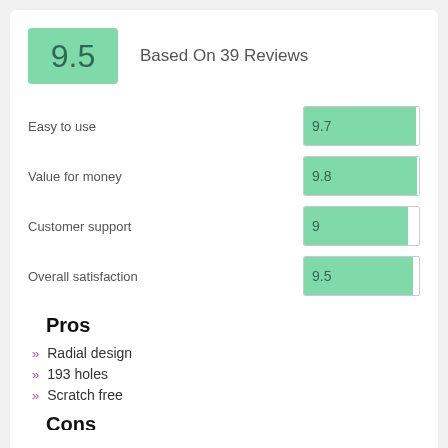9.5
Based On 39 Reviews
[Figure (bar-chart): Ratings]
Pros
Radial design
193 holes
Scratch free
Cons
It might not fit your car.